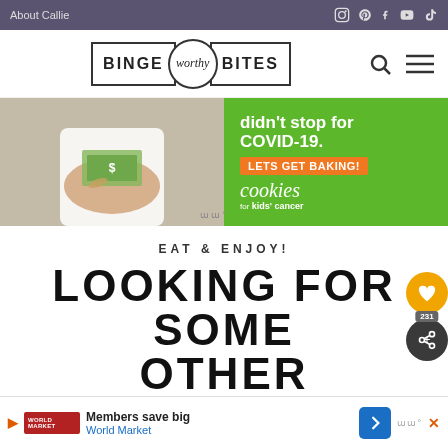About Callie
[Figure (logo): Binge Worthy Bites logo with circle emblem]
[Figure (infographic): Cookies for Kids' Cancer ad banner: didn't stop for COVID-19. LETS GET BAKING! cookies for kids' cancer]
EAT & ENJOY!
LOOKING FOR SOME OTHER DELICIOUS
[Figure (infographic): Bottom advertisement: Members save big - World Market]